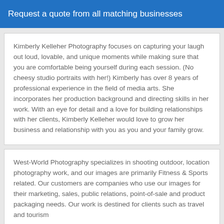Request a quote from all matching businesses
Kimberly Kelleher Photography focuses on capturing your laugh out loud, lovable, and unique moments while making sure that you are comfortable being yourself during each session. (No cheesy studio portraits with her!) Kimberly has over 8 years of professional experience in the field of media arts. She incorporates her production background and directing skills in her work. With an eye for detail and a love for building relationships with her clients, Kimberly Kelleher would love to grow her business and relationship with you as you and your family grow.
West-World Photography specializes in shooting outdoor, location photography work, and our images are primarily Fitness & Sports related. Our customers are companies who use our images for their marketing, sales, public relations, point-of-sale and product packaging needs. Our work is destined for clients such as travel and tourism